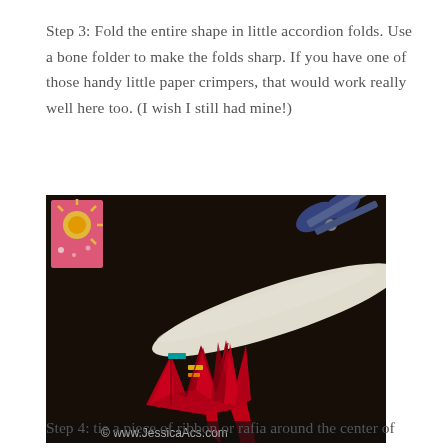Step 3: Fold the entire shape in little accordion folds. Use a bone folder to make the folds sharp. If you have one of those handy little paper crimpers, that would work really well here too. (I wish I still had mine!)
[Figure (photo): Photo of red accordion-folded paper shape on dark surface, with a bone folder (white/cream tool) and blue-handled scissors in the background. Watermark reads: © www.JessicaAcs.com]
Step 4: tie a piece of ribbon or rafia around the center of